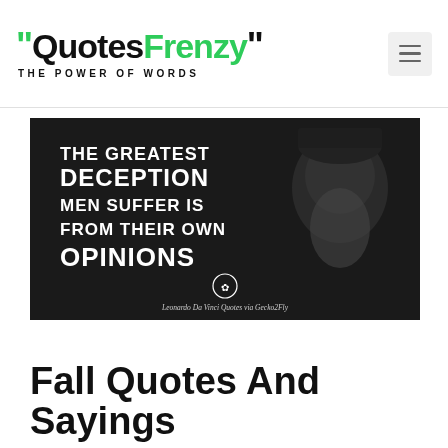"QuotesFrenzy" THE POWER OF WORDS
[Figure (illustration): Dark background image of an elderly bearded man (Leonardo Da Vinci) with white text overlay reading: THE GREATEST DECEPTION MEN SUFFER IS FROM THEIR OWN OPINIONS. Leonardo Da Vinci Quotes via Gecko2Fly.]
Fall Quotes And Sayings